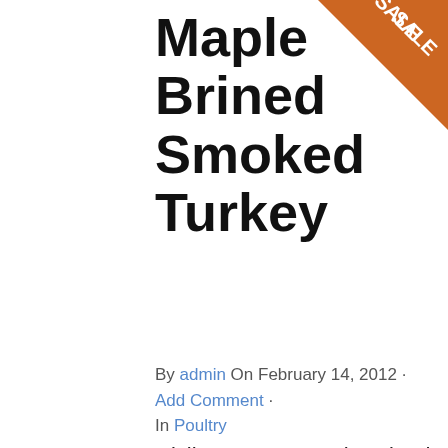[Figure (illustration): Orange triangular corner badge with white text reading 'SALE']
Maple Brined Smoked Turkey
By admin On February 14, 2012 · Add Comment · In Poultry
Civil War BBQ Maple Brined Smoked Turkey #ratingval# from #reviews# reviews Print Recipe Type: Main Author: Grill Dome Admin Brining changes the texture of the meat similar to coldcut turkey it seems more dense. I favor brining for sandwiches. Using other people's recipes as a starting point for your own creations is how cooking is [...]